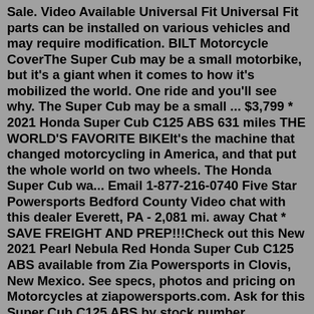Sale. Video Available Universal Fit Universal Fit parts can be installed on various vehicles and may require modification. BILT Motorcycle CoverThe Super Cub may be a small motorbike, but it's a giant when it comes to how it's mobilized the world. One ride and you'll see why. The Super Cub may be a small ... $3,799 * 2021 Honda Super Cub C125 ABS 631 miles THE WORLD'S FAVORITE BIKEIt's the machine that changed motorcycling in America, and that put the whole world on two wheels. The Honda Super Cub wa... Email 1-877-216-0740 Five Star Powersports Bedford County Video chat with this dealer Everett, PA - 2,081 mi. away Chat * SAVE FREIGHT AND PREP!!!Check out this New 2021 Pearl Nebula Red Honda Super Cub C125 ABS available from Zia Powersports in Clovis, New Mexico. See specs, photos and pricing on Motorcycles at ziapowersports.com. Ask for this Super Cub C125 ABS by stock number H201311C or make and model. Супер Каб. Super Cub. Статус2021 Super Cub C125 ABS SPECIFICATIONS. Honda It's the machine